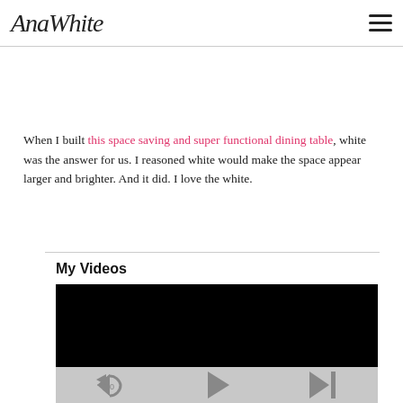AnaWhite [hamburger menu icon]
When I built this space saving and super functional dining table, white was the answer for us. I reasoned white would make the space appear larger and brighter. And it did. I love the white.
My Videos
[Figure (other): Embedded video player with black screen and playback controls (rewind 10s, play, skip to end) on a grey bar]